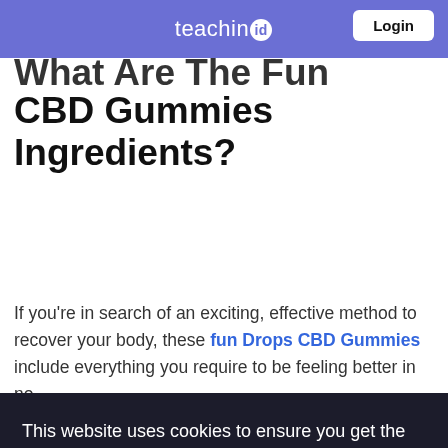teachin.id | Login
What Are The Fun Drops CBD Gummies Ingredients?
If you're in search of an exciting, effective method to recover your body, these fun Drops CBD Gummies include everything you require to be feeling better in no
[Figure (screenshot): Cookie consent banner with dark background reading: 'This website uses cookies to ensure you get the best experience on our website' with a 'Learn More' underlined link and a blue 'Got It!' button at the bottom.]
However, the best way to discover the way CBD can